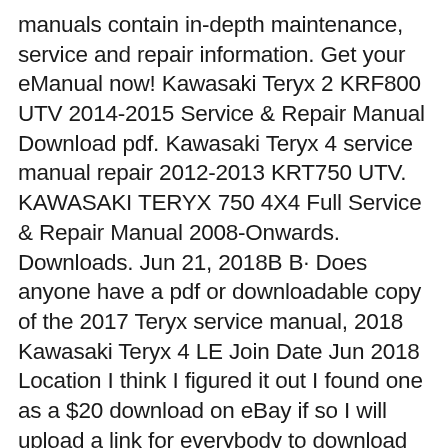manuals contain in-depth maintenance, service and repair information. Get your eManual now! Kawasaki Teryx 2 KRF800 UTV 2014-2015 Service & Repair Manual Download pdf. Kawasaki Teryx 4 service manual repair 2012-2013 KRT750 UTV. KAWASAKI TERYX 750 4X4 Full Service & Repair Manual 2008-Onwards. Downloads. Jun 21, 2018В В· Does anyone have a pdf or downloadable copy of the 2017 Teryx service manual, 2018 Kawasaki Teryx 4 LE Join Date Jun 2018 Location I think I figured it out I found one as a $20 download on eBay if so I will upload a link for everybody to download free . Post Thanks / Like - вЂ¦